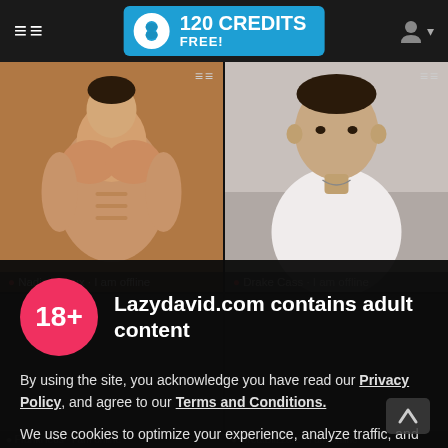120 CREDITS FREE!
[Figure (screenshot): Two live cam model thumbnails side by side. Left: muscular shirtless male model. Right: young male in white t-shirt. Both labeled as offline.]
● Nadine Roux - I am offline
● Drake Cass - I am offline
Lazydavid.com contains adult content
By using the site, you acknowledge you have read our Privacy Policy, and agree to our Terms and Conditions.
We use cookies to optimize your experience, analyze traffic, and deliver more personalized service. To learn more, please see our Privacy Policy.
I AGREE